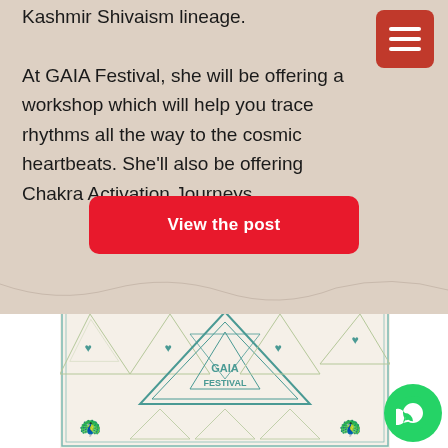healer with her knowledge of scriptures from the Kashmir Shivaism lineage. At GAIA Festival, she will be offering a workshop which will help you trace rhythms all the way to the cosmic heartbeats. She'll also be offering Chakra Activation Journeys.
View the post
[Figure (illustration): GAIA Festival decorative banner with geometric triangle patterns, heart symbols, and teal-colored motifs on a light background, with 'GAIA FESTIVAL' text in the center triangle.]